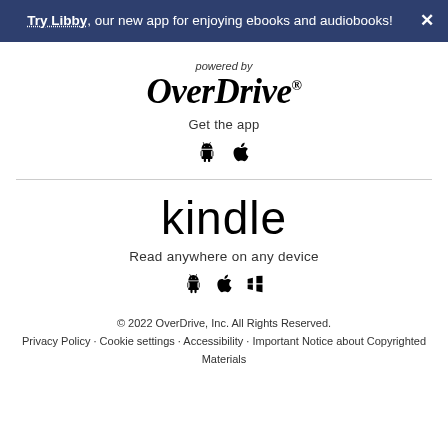Try Libby, our new app for enjoying ebooks and audiobooks!
[Figure (logo): OverDrive logo with 'powered by' above and 'Get the app' below with Android and Apple icons]
[Figure (logo): kindle logo with 'Read anywhere on any device' below and Android, Apple, Windows icons]
© 2022 OverDrive, Inc. All Rights Reserved. Privacy Policy · Cookie settings · Accessibility · Important Notice about Copyrighted Materials